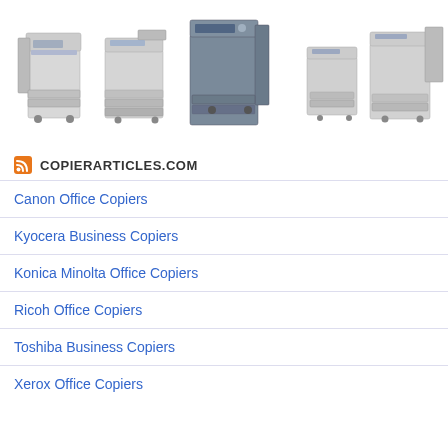[Figure (photo): A row of five office copier/multifunction printer machines in various sizes and models against a white background.]
COPIERARTICLES.COM
Canon Office Copiers
Kyocera Business Copiers
Konica Minolta Office Copiers
Ricoh Office Copiers
Toshiba Business Copiers
Xerox Office Copiers